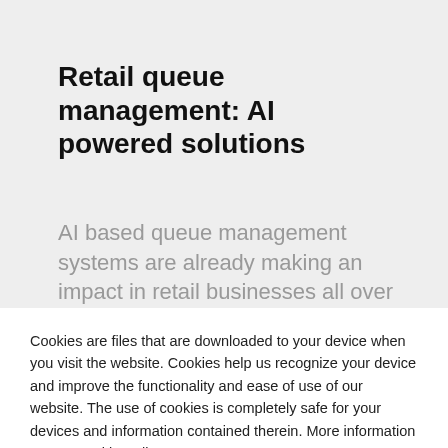Retail queue management: AI powered solutions
AI based queue management systems are already making an impact in retail businesses all over the world. Retailers choose
Cookies are files that are downloaded to your device when you visit the website. Cookies help us recognize your device and improve the functionality and ease of use of our website. The use of cookies is completely safe for your devices and information contained therein. More information on our Cookie Policy
Cookie Policy
ACCEPT